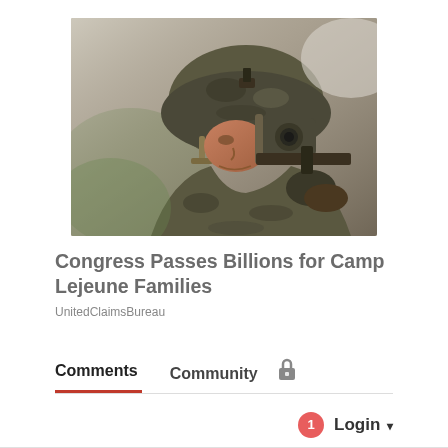[Figure (photo): A soldier in full combat gear and helmet, drinking from a canteen or handling equipment, close-up shot with blurred background]
Congress Passes Billions for Camp Lejeune Families
UnitedClaimsBureau
Comments  Community  🔒
1  Login ▾